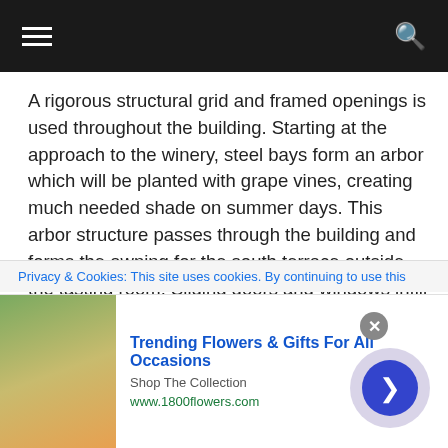Navigation bar with hamburger menu and search icon
A rigorous structural grid and framed openings is used throughout the building. Starting at the approach to the winery, steel bays form an arbor which will be planted with grape vines, creating much needed shade on summer days. This arbor structure passes through the building and forms the awning for the south terrace outside the tasting room. Sliding doors and windows infill this structural grid and enclose the tasting room. The structure is capped by a sheltering roof which is pierced by three elements–an anchoring chimney stack, an extruded skylight and a carved entry opening. These elements help to anchor the west end of the space and funnel natural light deep into the plan of the building and
Privacy & Cookies: This site uses cookies. By continuing to use this
[Figure (infographic): Advertisement banner for 1800flowers.com showing a woman with flowers, with title 'Trending Flowers & Gifts For All Occasions', 'Shop The Collection', 'www.1800flowers.com', and a navigation arrow button]